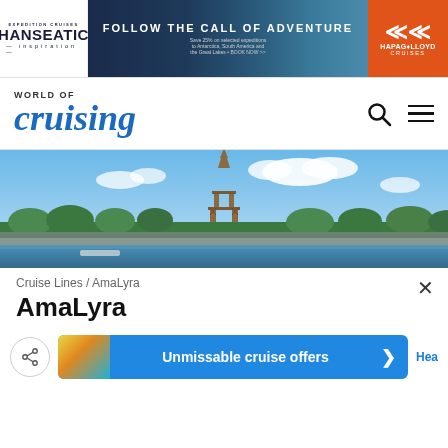[Figure (other): Hanseatic Inspiration and Hapag-Lloyd Cruises advertisement banner: 'Follow the Call of Adventure']
[Figure (logo): World of Cruising logo with search and menu icons]
[Figure (photo): Hero photo of the Eiffel Tower in Paris with the Seine river and trees in the foreground under a blue sky]
Cruise Lines / AmaLyra
AmaLyra
[Figure (other): Bottom action bar with share button and 'Unmissable cruise offers' blue banner with arrow]